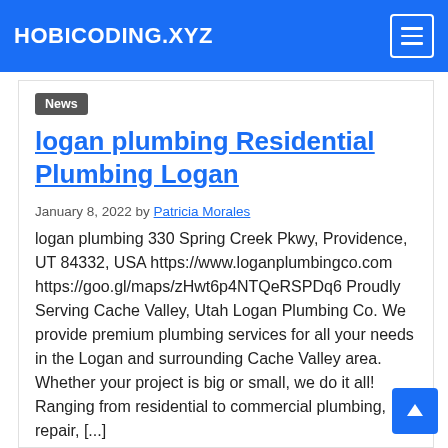HOBICODING.XYZ
News
logan plumbing Residential Plumbing Logan
January 8, 2022 by Patricia Morales
logan plumbing 330 Spring Creek Pkwy, Providence, UT 84332, USA https://www.loganplumbingco.com https://goo.gl/maps/zHwt6p4NTQeRSPDq6 Proudly Serving Cache Valley, Utah Logan Plumbing Co. We provide premium plumbing services for all your needs in the Logan and surrounding Cache Valley area. Whether your project is big or small, we do it all! Ranging from residential to commercial plumbing, repair, [...]